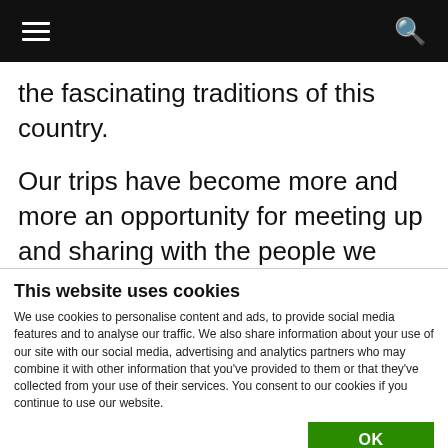Navigation bar with hamburger menu and search icon
the fascinating traditions of this country.
Our trips have become more and more an opportunity for meeting up and sharing with the people we
This website uses cookies
We use cookies to personalise content and ads, to provide social media features and to analyse our traffic. We also share information about your use of our site with our social media, advertising and analytics partners who may combine it with other information that you've provided to them or that they've collected from your use of their services. You consent to our cookies if you continue to use our website.